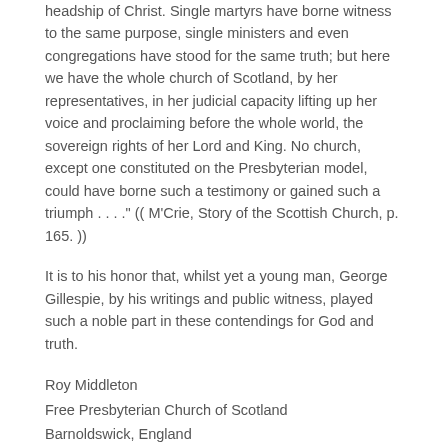headship of Christ. Single martyrs have borne witness to the same purpose, single ministers and even congregations have stood for the same truth; but here we have the whole church of Scotland, by her representatives, in her judicial capacity lifting up her voice and proclaiming before the whole world, the sovereign rights of her Lord and King. No church, except one constituted on the Presbyterian model, could have borne such a testimony or gained such a triumph . . . ." (( M'Crie, Story of the Scottish Church, p. 165. ))
It is to his honor that, whilst yet a young man, George Gillespie, by his writings and public witness, played such a noble part in these contendings for God and truth.
Roy Middleton
Free Presbyterian Church of Scotland
Barnoldswick, England